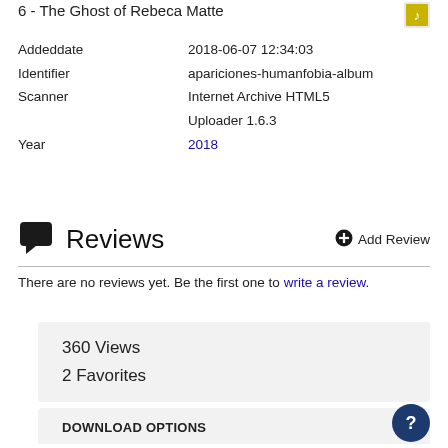6 - The Ghost of Rebeca Matte
| Field | Value |
| --- | --- |
| Addeddate | 2018-06-07 12:34:03 |
| Identifier | apariciones-humanfobia-album |
| Scanner | Internet Archive HTML5 Uploader 1.6.3 |
| Year | 2018 |
Reviews
There are no reviews yet. Be the first one to write a review.
360 Views
2 Favorites
DOWNLOAD OPTIONS